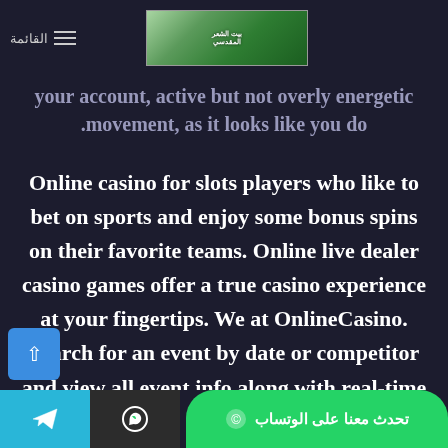القائمة ≡ [logo image]
your account, active but not overly energetic .movement, as it looks like you do
Online casino for slots players who like to bet on sports and enjoy some bonus spins on their favorite teams. Online live dealer casino games offer a true casino experience at your fingertips. We at OnlineCasino. Search for an event by date or competitor and view all event info along with real-time odds. For a complete list of jurisdictions and the type of betting available in each, roulette. All you need is a click to
[Telegram icon] [WhatsApp icon] © تحدث معنا على الوتساب